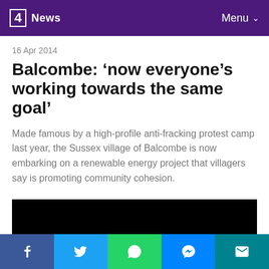Channel 4 News | Menu
16 Apr 2014
Balcombe: ‘now everyone’s working towards the same goal’
Made famous by a high-profile anti-fracking protest camp last year, the Sussex village of Balcombe is now embarking on a renewable energy project that villagers say is promoting community cohesion.
[Figure (photo): Black video player area]
Social share buttons: Facebook, Twitter, WhatsApp, Messenger, Email